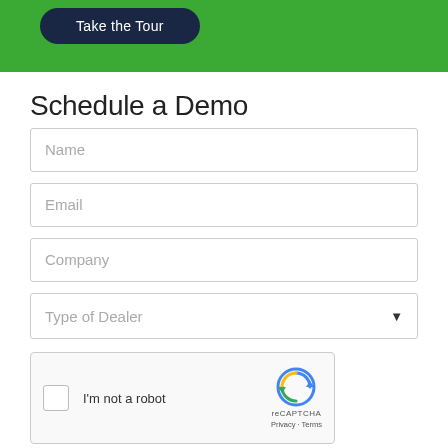[Figure (other): Green banner with 'Take the Tour' dark navy rounded button]
Schedule a Demo
Name
Email
Company
Type of Dealer
[Figure (other): reCAPTCHA widget with checkbox, 'I'm not a robot' text, reCAPTCHA logo, Privacy and Terms links]